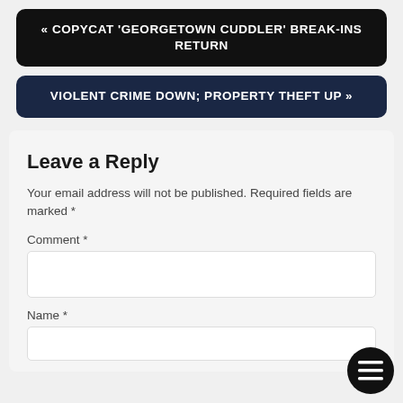« COPYCAT 'GEORGETOWN CUDDLER' BREAK-INS RETURN
VIOLENT CRIME DOWN; PROPERTY THEFT UP »
Leave a Reply
Your email address will not be published. Required fields are marked *
Comment *
Name *